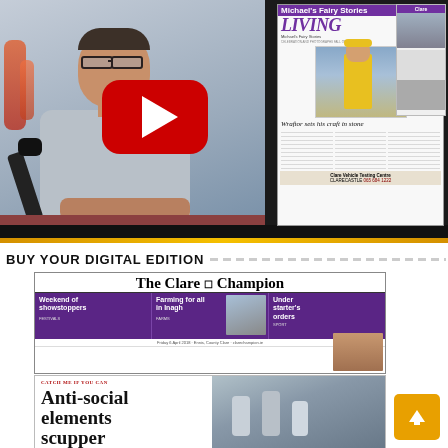[Figure (screenshot): Video thumbnail of a man in glasses and grey shirt sitting at a table with a microphone, with a YouTube play button overlay. In the background a copy of a newspaper/magazine is visible showing 'LIVING' headline, 'Wraftor sets his craft in stone', Clare Vehicle Testing Centre ad.]
BUY YOUR DIGITAL EDITION
[Figure (screenshot): The Clare Champion newspaper front page thumbnail showing: masthead 'The Clare Champion', purple banner teasers 'Weekend of showstoppers', 'Farming for all in Inagh', 'Under starter's orders', and below a second article preview with headline 'Anti-social elements scupper' and catchline 'CATCH ME IF YOU CAN'.]